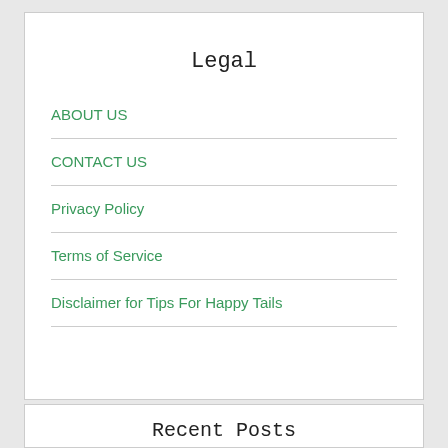Legal
ABOUT US
CONTACT US
Privacy Policy
Terms of Service
Disclaimer for Tips For Happy Tails
Recent Posts